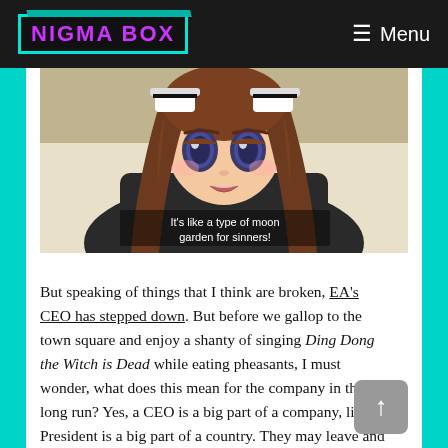NIGMA BOX   ☰ Menu
[Figure (screenshot): Anime screenshot of a brown-haired girl in a maid outfit with large blue eyes, with subtitle text: "It's like a type of moon garden for sinners!"]
But speaking of things that I think are broken, EA's CEO has stepped down. But before we gallop to the town square and enjoy a shanty of singing Ding Dong the Witch is Dead while eating pheasants, I must wonder, what does this mean for the company in the long run? Yes, a CEO is a big part of a company, like a President is a big part of a country. They may leave and minor things could change, but it would only be minor in the long run. I could be wrong, but I'm expecting things to be the same, seeing as how I